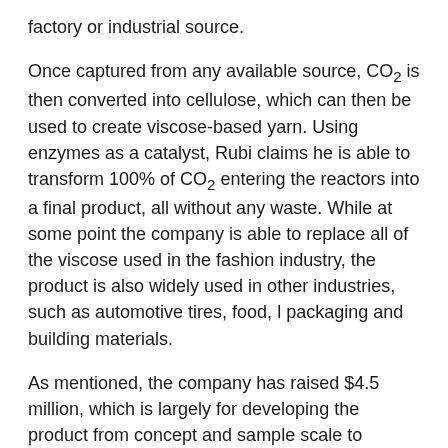factory or industrial source.
Once captured from any available source, CO₂ is then converted into cellulose, which can then be used to create viscose-based yarn. Using enzymes as a catalyst, Rubi claims he is able to transform 100% of CO₂ entering the reactors into a final product, all without any waste. While at some point the company is able to replace all of the viscose used in the fashion industry, the product is also widely used in other industries, such as automotive tires, food, l packaging and building materials.
As mentioned, the company has raised $4.5 million, which is largely for developing the product from concept and sample scale to launch commercialization.
“We were really looking for investors who could see this sustainable symbiotic future that we see as possible, and who were willing to take the risks that are part of the journey,